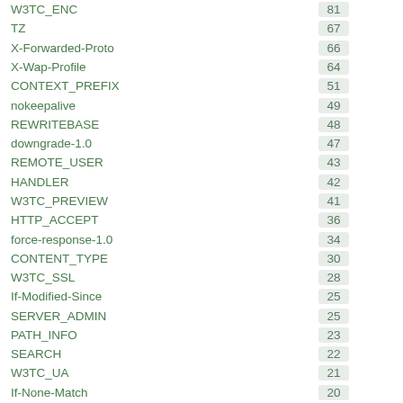| Key | Count |
| --- | --- |
| W3TC_ENC | 81 |
| TZ | 67 |
| X-Forwarded-Proto | 66 |
| X-Wap-Profile | 64 |
| CONTEXT_PREFIX | 51 |
| nokeepalive | 49 |
| REWRITEBASE | 48 |
| downgrade-1.0 | 47 |
| REMOTE_USER | 43 |
| HANDLER | 42 |
| W3TC_PREVIEW | 41 |
| HTTP_ACCEPT | 36 |
| force-response-1.0 | 34 |
| CONTENT_TYPE | 30 |
| W3TC_SSL | 28 |
| If-Modified-Since | 25 |
| SERVER_ADMIN | 25 |
| PATH_INFO | 23 |
| SEARCH | 22 |
| W3TC_UA | 21 |
| If-None-Match | 20 |
| REMOTE_HOST | 20 |
| W3TC_REF | 19 |
| CONNECTION | 16 |
| XAUTHORIZATION | 11 |